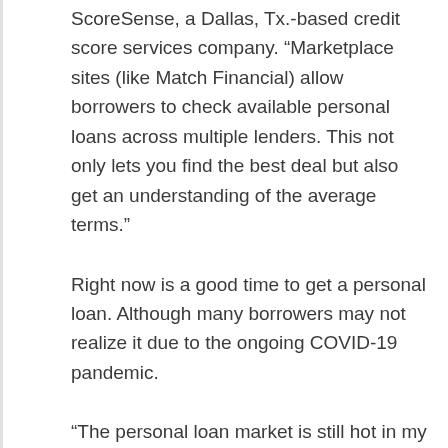ScoreSense, a Dallas, Tx.-based credit score services company. “Marketplace sites (like Match Financial) allow borrowers to check available personal loans across multiple lenders. This not only lets you find the best deal but also get an understanding of the average terms.”
Right now is a good time to get a personal loan. Although many borrowers may not realize it due to the ongoing COVID-19 pandemic.
“The personal loan market is still hot in my opinion,” said a Cody Zucker, house